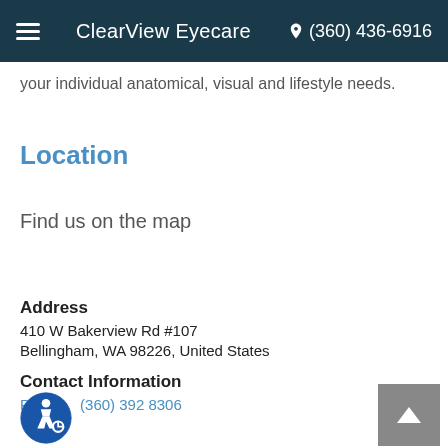ClearView Eyecare | (360) 436-6916
your individual anatomical, visual and lifestyle needs.
Location
Find us on the map
Address
410 W Bakerview Rd #107
Bellingham, WA 98226, United States
Contact Information
Phone:   (360) 392 8306
[Figure (illustration): Wheelchair accessibility icon — blue circle with white figure in wheelchair]